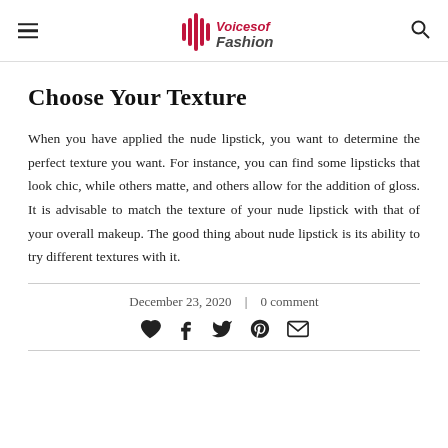Voices of Fashion
Choose Your Texture
When you have applied the nude lipstick, you want to determine the perfect texture you want. For instance, you can find some lipsticks that look chic, while others matte, and others allow for the addition of gloss. It is advisable to match the texture of your nude lipstick with that of your overall makeup. The good thing about nude lipstick is its ability to try different textures with it.
December 23, 2020  |  0 comment